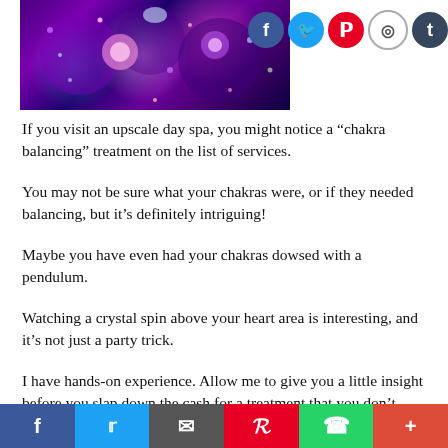[Figure (photo): Decorative image of colorful gems/crystals and beads with purple tones, alongside social media icons (Facebook, Twitter, Pinterest, Instagram, Tumblr) in the top right]
If you visit an upscale day spa, you might notice a “chakra balancing” treatment on the list of services.
You may not be sure what your chakras were, or if they needed balancing, but it’s definitely intriguing!
Maybe you have even had your chakras dowsed with a pendulum.
Watching a crystal spin above your heart area is interesting, and it’s not just a party trick.
I have hands-on experience. Allow me to give you a little insight before you slap down the cash for a treatment that you don’t really know if you need.
Your chakra system comprises seven main energy centres that live along the spine below...
f  twitter  email  pinterest  whatsapp  +